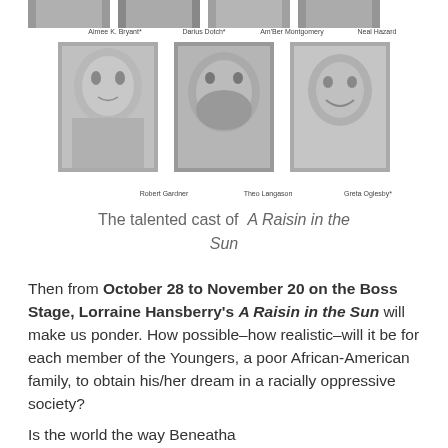[Figure (photo): Top row of four black and white headshot photos cropped at top of page]
Aimee K. Bryant*   Darius Dotch*   Am'Ber Montgomery   Neal Hazard
[Figure (photo): Bottom row of three black and white headshot photos]
Robert Gardner   Theo Langason   Greta Oglesby*
The talented cast of A Raisin in the Sun
Then from October 28 to November 20 on the Boss Stage, Lorraine Hansberry's A Raisin in the Sun will make us ponder. How possible–how realistic–will it be for each member of the Youngers, a poor African-American family, to obtain his/her dream in a racially oppressive society?
Is the world the way Beneatha